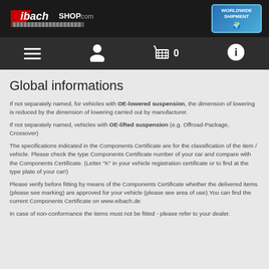Eibach SHOP.com — WORLDWIDE SHIPMENT
Global informations
If not separately named, for vehicles with OE-lowered suspension, the dimension of lowering is reduced by the dimension of lowering carried out by manufacturer.
If not separately named, vehicles with OE-lifted suspension (e.g. Offroad-Package, Crossover)
The specifications indicated in the Components Certificate are for the classification of the item / vehicle. Please check the type Components Certificate number of your car and compare with the Components Certificate. (Letter "K" in your vehicle registration certificate or to find at the type plate of your car!)
Please verify before fitting by means of the Components Certificate whether the delivered items (please see marking) are approved for your vehicle (please see area of use).You can find the current Components Certificate on www.eibach.de
In case of non-conformance the items must not be fitted - please refer to your dealer.